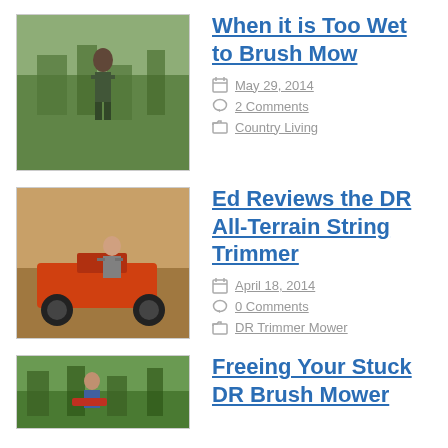[Figure (photo): Person with brush mower equipment in green vegetation]
When it is Too Wet to Brush Mow
May 29, 2014
2 Comments
Country Living
[Figure (photo): Person riding orange DR All-Terrain String Trimmer]
Ed Reviews the DR All-Terrain String Trimmer
April 18, 2014
0 Comments
DR Trimmer Mower
[Figure (photo): Person with DR Brush Mower in green vegetation]
Freeing Your Stuck DR Brush Mower